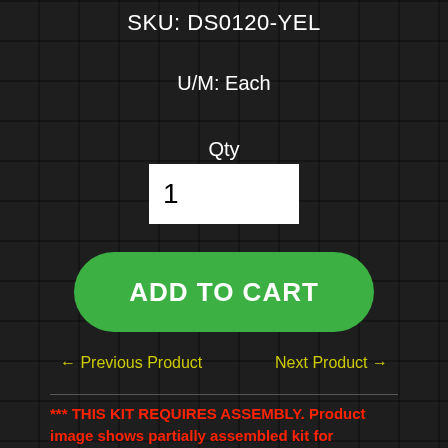SKU: DS0120-YEL
U/M: Each
Qty
1
ADD TO CART
← Previous Product
Next Product →
*** THIS KIT REQUIRES ASSEMBLY. Product image shows partially assembled kit for illustration ***